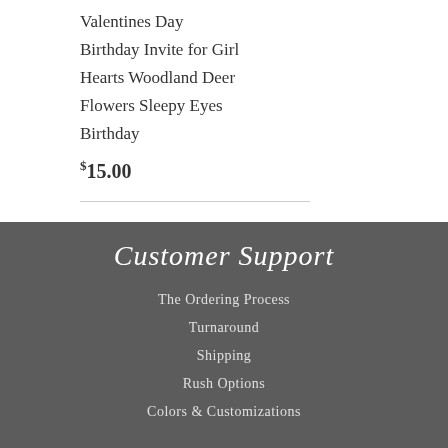Valentines Day
Birthday Invite for Girl
Hearts Woodland Deer
Flowers Sleepy Eyes
Birthday
$15.00
Customer Support
The Ordering Process
Turnaround
Shipping
Rush Options
Colors & Customizations